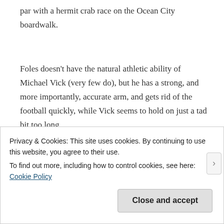par with a hermit crab race on the Ocean City boardwalk.
Foles doesn't have the natural athletic ability of Michael Vick (very few do), but he has a strong, and more importantly, accurate arm, and gets rid of the football quickly, while Vick seems to hold on just a tad bit too long.
Foles will likely get the start this week against Tampa,
Privacy & Cookies: This site uses cookies. By continuing to use this website, you agree to their use.
To find out more, including how to control cookies, see here: Cookie Policy
Close and accept